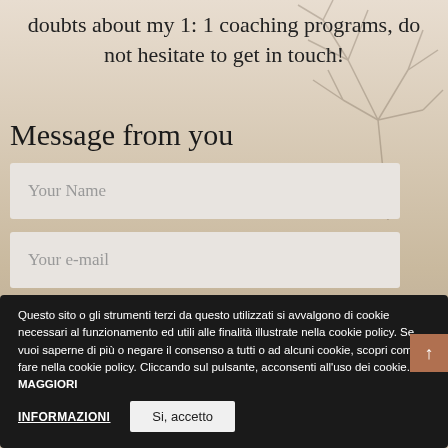doubts about my 1: 1 coaching programs, do not hesitate to get in touch!
Message from you
Your Name
Your e-mail
Your message
Questo sito o gli strumenti terzi da questo utilizzati si avvalgono di cookie necessari al funzionamento ed utili alle finalità illustrate nella cookie policy. Se vuoi saperne di più o negare il consenso a tutti o ad alcuni cookie, scopri come fare nella cookie policy. Cliccando sul pulsante, acconsenti all'uso dei cookie. MAGGIORI INFORMAZIONI   Si, accetto
3 + 12 =
SEND IT